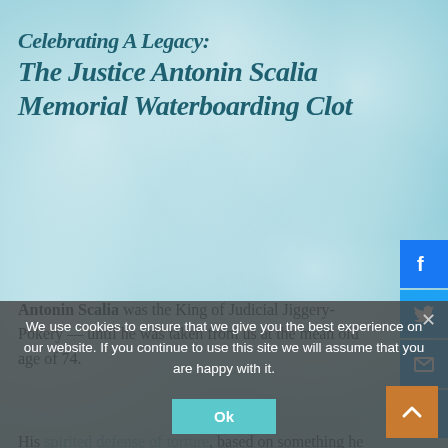Celebrating A Legacy: The Justice Antonin Scalia Memorial Waterboarding Cloth
Antonin Scalia was the King of Judicial Jiggery-Pokery — until he was taken from us at the mean old age of 74.
His spirited defense of torture, based on something he saw Jack Bauer do on television's 24, was truly his finest hour.
We use cookies to ensure that we give you the best experience on our website. If you continue to use this site we will assume that you are happy with it.